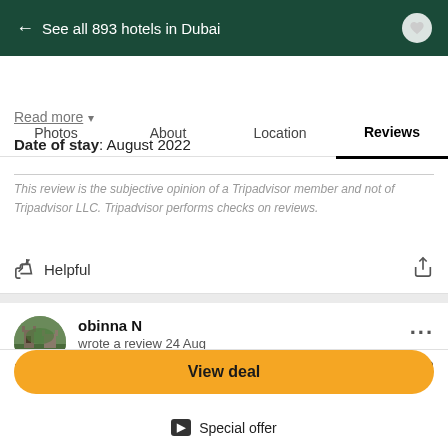← See all 893 hotels in Dubai
Photos  About  Location  Reviews
Read more ▼
Date of stay: August 2022
This review is the subjective opinion of a Tripadvisor member and not of Tripadvisor LLC. Tripadvisor performs checks on reviews.
Helpful
obinna N
wrote a review 24 Aug
1 contribution
Booking.com   US$58
View deal
Special offer